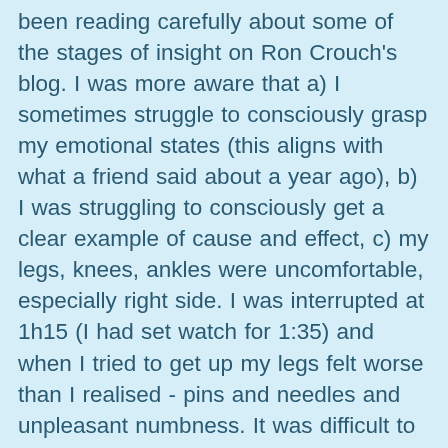been reading carefully about some of the stages of insight on Ron Crouch's blog. I was more aware that a) I sometimes struggle to consciously grasp my emotional states (this aligns with what a friend said about a year ago), b) I was struggling to consciously get a clear example of cause and effect, c) my legs, knees, ankles were uncomfortable, especially right side. I was interrupted at 1h15 (I had set watch for 1:35) and when I tried to get up my legs felt worse than I realised - pins and needles and unpleasant numbness. It was difficult to walk for a few minutes. I believe this will get better with practice. A&P appears somewhat subdued although I do think I go through it because I feel the vibrations and little electrical pulses on the skin. I was aware,